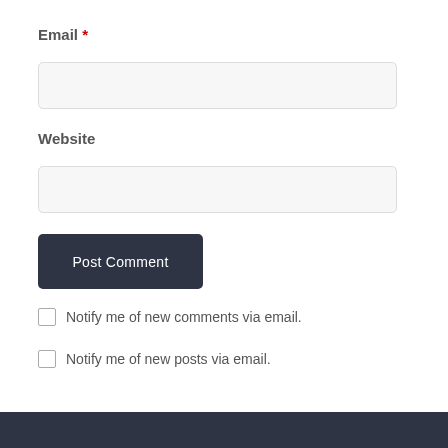Email *
[Figure (other): Empty text input field for Email]
Website
[Figure (other): Empty text input field for Website]
[Figure (other): Post Comment button]
Notify me of new comments via email.
Notify me of new posts via email.